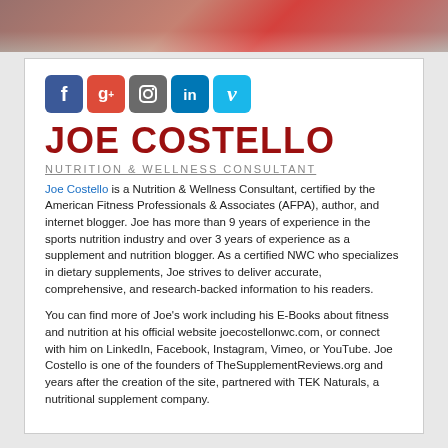[Figure (photo): Partial photo strip at top of page, showing a person in a red outfit, cropped]
[Figure (infographic): Row of social media icons: Facebook (blue), Google+ (red-orange), Instagram (gray), LinkedIn (blue), Vimeo (light blue)]
JOE COSTELLO
NUTRITION & WELLNESS CONSULTANT
Joe Costello is a Nutrition & Wellness Consultant, certified by the American Fitness Professionals & Associates (AFPA), author, and internet blogger. Joe has more than 9 years of experience in the sports nutrition industry and over 3 years of experience as a supplement and nutrition blogger. As a certified NWC who specializes in dietary supplements, Joe strives to deliver accurate, comprehensive, and research-backed information to his readers.
You can find more of Joe's work including his E-Books about fitness and nutrition at his official website joecostellonwc.com, or connect with him on LinkedIn, Facebook, Instagram, Vimeo, or YouTube. Joe Costello is one of the founders of TheSupplementReviews.org and years after the creation of the site, partnered with TEK Naturals, a nutritional supplement company.